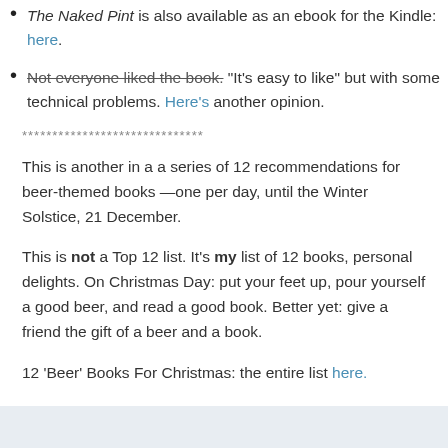The Naked Pint is also available as an ebook for the Kindle: here.
Not everyone liked the book. "It's easy to like" but with some technical problems. Here's another opinion.
******************************
This is another in a a series of 12 recommendations for beer-themed books —one per day, until the Winter Solstice, 21 December.
This is not a Top 12 list. It's my list of 12 books, personal delights. On Christmas Day: put your feet up, pour yourself a good beer, and read a good book. Better yet: give a friend the gift of a beer and a book.
12 'Beer' Books For Christmas: the entire list here.